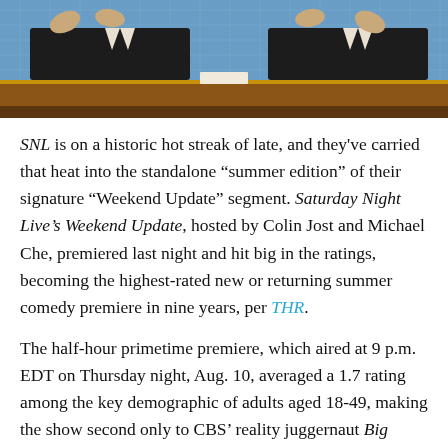[Figure (photo): Two people in dark suits sitting behind a wooden desk on what appears to be the Saturday Night Live Weekend Update set, with a blue grid background. Their hands are raised gesturing.]
SNL is on a historic hot streak of late, and they've carried that heat into the standalone “summer edition” of their signature “Weekend Update” segment. Saturday Night Live’s Weekend Update, hosted by Colin Jost and Michael Che, premiered last night and hit big in the ratings, becoming the highest-rated new or returning summer comedy premiere in nine years, per THR.
The half-hour primetime premiere, which aired at 9 p.m. EDT on Thursday night, Aug. 10, averaged a 1.7 rating among the key demographic of adults aged 18-49, making the show second only to CBS’ reality juggernaut Big Brother. To put that in perspective, no new or returning summer comedy of the big four networks (NBC, CBS, ABC